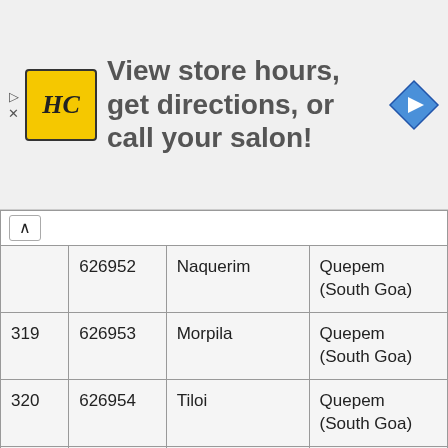[Figure (screenshot): Advertisement banner: HC (Hair Club) logo with yellow background, text 'View store hours, get directions, or call your salon!', and a blue navigation arrow icon on the right. Small play and X icons on the far left.]
|  |  | Naquerim | Quepem (South Goa) |
| --- | --- | --- | --- |
| 319 | 626953 | Morpila | Quepem (South Goa) |
| 320 | 626954 | Tiloi | Quepem (South Goa) |
| 321 | 626955 | Bendordem | Quepem (South Goa) |
| 322 | 626956 | Cavorem | Quepem (South Goa) |
| 323 | 626957 | Maina | Quepem (South Goa) |